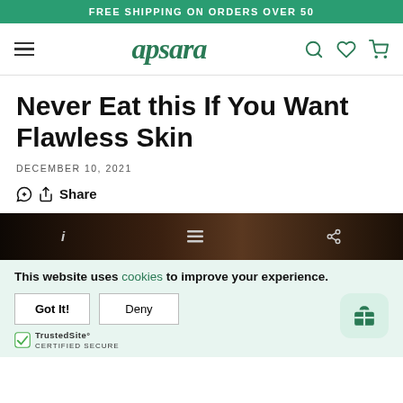FREE SHIPPING ON ORDERS OVER 50
[Figure (logo): Apsara brand logo with hamburger menu, search, heart, and cart icons]
Never Eat this If You Want Flawless Skin
DECEMBER 10, 2021
Share
[Figure (photo): Dark image of coffee beans with info, list, and share icons overlay]
This website uses cookies to improve your experience.
Got It!
Deny
[Figure (logo): TrustedSite Certified Secure badge]